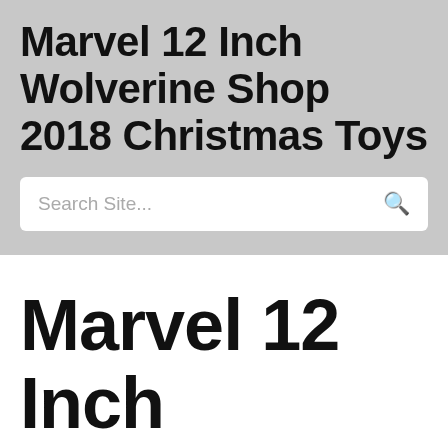Marvel 12 Inch Wolverine Shop 2018 Christmas Toys
Search Site...
Marvel 12 Inch